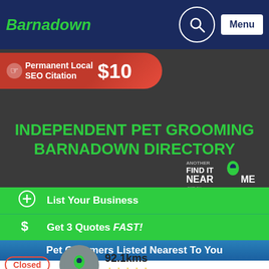Barnadown
[Figure (infographic): Permanent Local SEO Citation $10 promotional banner]
INDEPENDENT PET GROOMING BARNADOWN DIRECTORY
[Figure (logo): Another Find It Near Me .com.au Directory logo]
List Your Business
Get 3 Quotes FAST!
Pet Groomers Listed Nearest To You
Closed  92.1kms  ☆☆☆☆☆